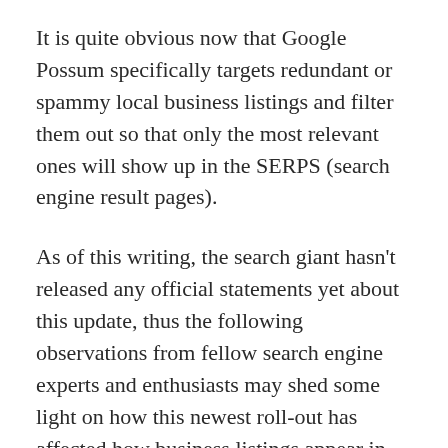It is quite obvious now that Google Possum specifically targets redundant or spammy local business listings and filter them out so that only the most relevant ones will show up in the SERPS (search engine result pages).
As of this writing, the search giant hasn't released any official statements yet about this update, thus the following observations from fellow search engine experts and enthusiasts may shed some light on how this newest roll-out has affected how business listings appear in local search results.
“I noticed a big move up for a client which I’m sure is related to this local algo change. Four days ago,